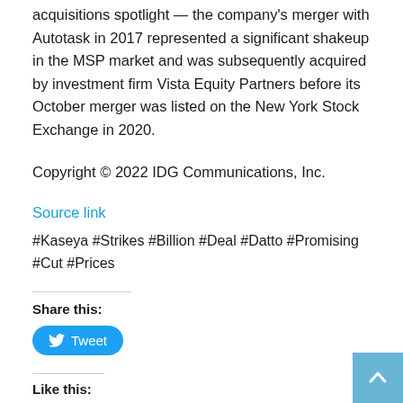acquisitions spotlight — the company's merger with Autotask in 2017 represented a significant shakeup in the MSP market and was subsequently acquired by investment firm Vista Equity Partners before its October merger was listed on the New York Stock Exchange in 2020.
Copyright © 2022 IDG Communications, Inc.
Source link
#Kaseya #Strikes #Billion #Deal #Datto #Promising #Cut #Prices
Share this:
[Figure (other): Tweet button with Twitter bird icon]
Like this:
Loading...